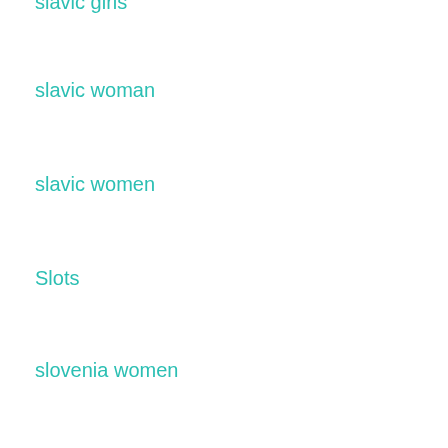slavic girls
slavic woman
slavic women
Slots
slovenia women
slovenian girls
slush match making
small business website
small business website design
small payday loans
Small Payday Loans Online
Small Tits Girls Live Web Cam Sex